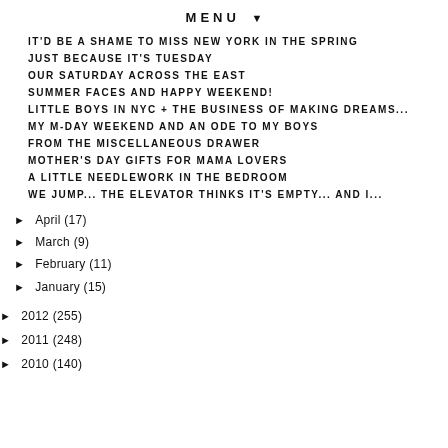MENU ▼
IT'D BE A SHAME TO MISS NEW YORK IN THE SPRING
JUST BECAUSE IT'S TUESDAY
OUR SATURDAY ACROSS THE EAST
SUMMER FACES AND HAPPY WEEKEND!
LITTLE BOYS IN NYC + THE BUSINESS OF MAKING DREAMS...
MY M-DAY WEEKEND AND AN ODE TO MY BOYS
FROM THE MISCELLANEOUS DRAWER
MOTHER'S DAY GIFTS FOR MAMA LOVERS
A LITTLE NEEDLEWORK IN THE BEDROOM
WE JUMP... THE ELEVATOR THINKS IT'S EMPTY... AND I...
► April (17)
► March (9)
► February (11)
► January (15)
► 2012 (255)
► 2011 (248)
► 2010 (140)